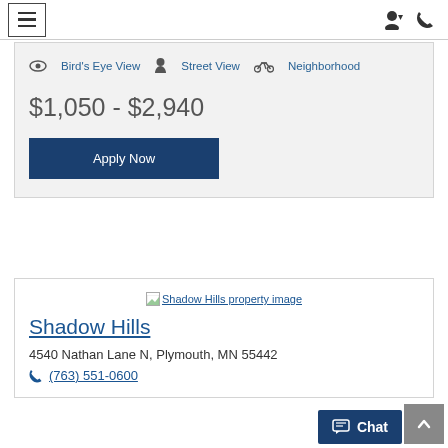Navigation bar with hamburger menu, user icon, and phone icon
Bird's Eye View   Street View   Neighborhood
$1,050 - $2,940
Apply Now
[Figure (screenshot): Broken image placeholder for Shadow Hills property image]
Shadow Hills
4540 Nathan Lane N, Plymouth, MN 55442
(763) 551-0600
Chat